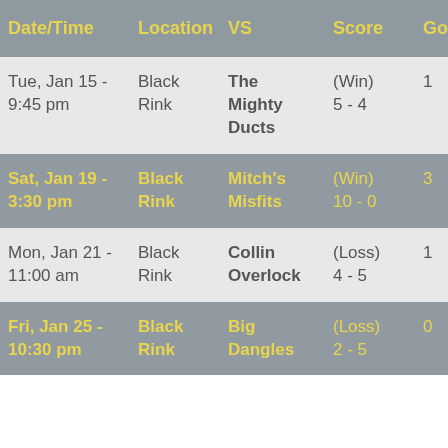| Date/Time | Location | VS | Score | Goals | Ass |
| --- | --- | --- | --- | --- | --- |
| Tue, Jan 15 - 9:45 pm | Black Rink | The Mighty Ducts | (Win) 5 - 4 | 1 | 0 |
| Sat, Jan 19 - 3:30 pm | Black Rink | Mitch's Misfits | (Win) 10 - 0 | 3 | 0 |
| Mon, Jan 21 - 11:00 am | Black Rink | Collin Overlock | (Loss) 4 - 5 | 1 | 0 |
| Fri, Jan 25 - 10:30 pm | Black Rink | Big Dangles | (Loss) 2 - 5 | 0 | 0 |